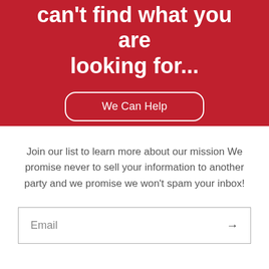can't find what you are looking for...
We Can Help
Join our list to learn more about our mission We promise never to sell your information to another party and we promise we won't spam your inbox!
Email →